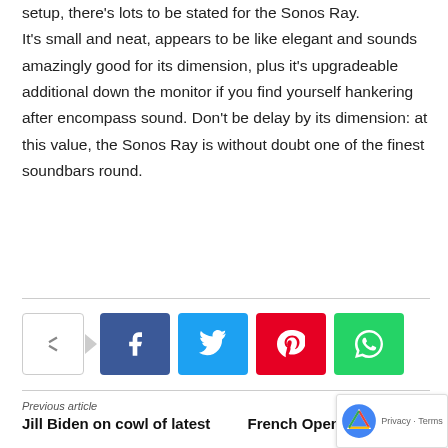setup, there's lots to be stated for the Sonos Ray.
It's small and neat, appears to be like elegant and sounds amazingly good for its dimension, plus it's upgradeable additional down the monitor if you find yourself hankering after encompass sound. Don't be delay by its dimension: at this value, the Sonos Ray is without doubt one of the finest soundbars round.
[Figure (infographic): Social share buttons: a share icon with arrow, followed by Facebook (blue), Twitter (cyan), Pinterest (red), and WhatsApp (green) icon buttons]
Previous article
Jill Biden on cowl of latest
N
French Open: Coco Gauff